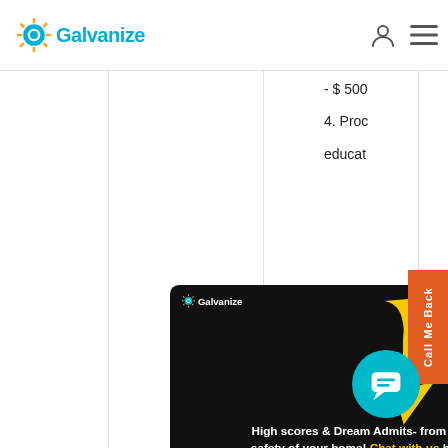[Figure (logo): Galvanize logo with sun/gear icon in teal and orange, text 'Galvanize' in teal]
- $ 500
4. Proc
educat
[Figure (infographic): Black banner ad with Galvanize logo, large yellow downward arrow, white bold text: 'High scores & Dream Admits- from the safety of your home! Chat with us here for more EXCITING OFFER']
Via
ness
investm
plan
6. Proc
Call Me Back